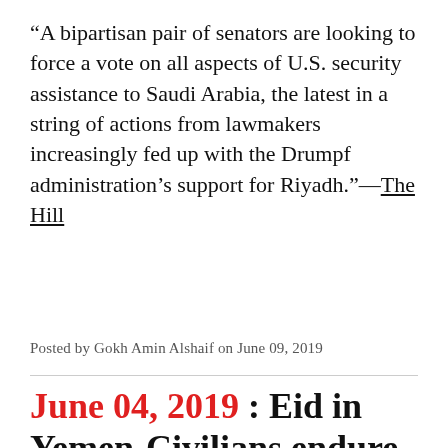“A bipartisan pair of senators are looking to force a vote on all aspects of U.S. security assistance to Saudi Arabia, the latest in a string of actions from lawmakers increasingly fed up with the Drumpf administration’s support for Riyadh.”—The Hill
Posted by Gokh Amin Alshaif on June 09, 2019
June 04, 2019 : Eid in Yemen-Civilians endure another year of war